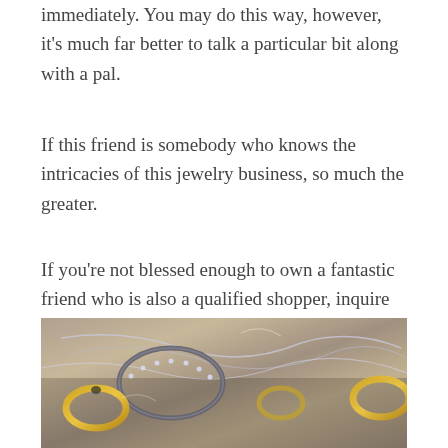Immediately. You may do this way, however, it's much far better to talk a particular bit along with a pal.
If this friend is somebody who knows the intricacies of this jewelry business, so much the greater.
If you're not blessed enough to own a fantastic friend who is also a qualified shopper, inquire across the household.
[Figure (photo): A close-up photograph of various jewelry pieces including rings and necklace chains on a neutral background.]